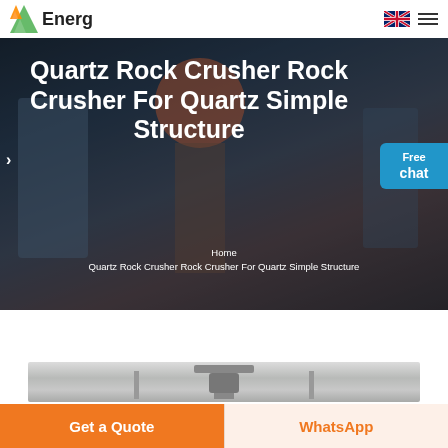Energ
[Figure (screenshot): Hero banner with industrial crusher machinery background, showing large crusher equipment in factory setting with workers]
Quartz Rock Crusher Rock Crusher For Quartz Simple Structure
Home > Quartz Rock Crusher Rock Crusher For Quartz Simple Structure
[Figure (photo): Product photo showing industrial rock crusher machine in warehouse/factory setting with Chinese text banners]
Get a Quote
WhatsApp